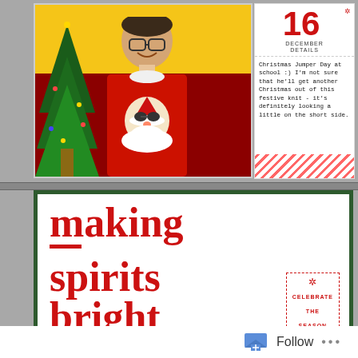[Figure (photo): A scrapbook page spread in a ring binder. Top section shows a photo of a teenage boy in a red Christmas jumper with Santa face design, standing in front of a Christmas tree with a yellow wall background. Next to it is a journal card with the number 16, 'DECEMBER DETAILS' header, and handwritten text about Christmas Jumper Day at school. Bottom section shows a large white card with dark green border reading 'making — spirits bright' with 'CELEBRATE THE SEASON' stamp in corner.]
Christmas Jumper Day at school :) I'm not sure that he'll get another Christmas out of this festive knit - it's definitely looking a little on the short side.
making — spirits bright
CELEBRATE THE SEASON
Follow ...